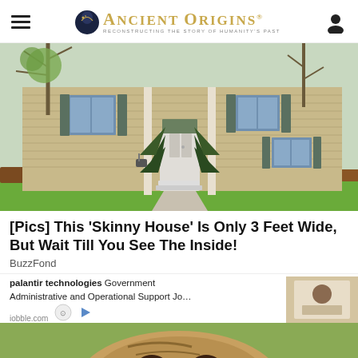Ancient Origins — Reconstructing the story of humanity's past
[Figure (photo): Two-story colonial style house with tan/beige horizontal siding, white columns flanking the front door, blue-shuttered windows, evergreen shrubs flanking the entry, green lawn, and bare trees in spring.]
[Pics] This 'Skinny House' Is Only 3 Feet Wide, But Wait Till You See The Inside!
BuzzFond
palantir technologies Government Administrative and Operational Support Jo… iobble.com
[Figure (photo): Partial ad image showing a person at a desk. Below is a cropped photo of a large dog (mastiff/bullmastiff) face and head.]